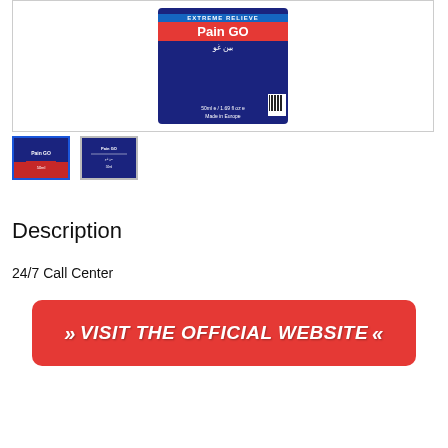[Figure (photo): Product image of Pain GO Extreme Relieve spray bottle in dark blue box with red label, 50ml, Made in Europe, with Arabic text بين غو]
[Figure (photo): Thumbnail 1: Front view of Pain GO product bottle]
[Figure (photo): Thumbnail 2: Back/side view of Pain GO product packaging]
Description
24/7 Call Center
[Figure (infographic): Red button banner: >> VISIT THE OFFICIAL WEBSITE <<]